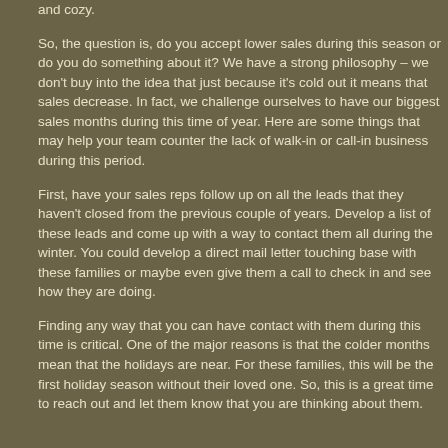and cozy.
So, the question is, do you accept lower sales during this season or do you do something about it? We have a strong philosophy – we don't buy into the idea that just because it's cold out it means that sales decrease. In fact, we challenge ourselves to have our biggest sales months during this time of year. Here are some things that may help your team counter the lack of walk-in or call-in business during this period.
First, have your sales reps follow up on all the leads that they haven't closed from the previous couple of years. Develop a list of these leads and come up with a way to contact them all during the winter. You could develop a direct mail letter touching base with these families or maybe even give them a call to check in and see how they are doing.
Finding any way that you can have contact with them during this time is critical. One of the major reasons is that the colder months mean that the holidays are near. For these families, this will be the first holiday season without their loved one. So, this is a great time to reach out and let them know that you are thinking about them.